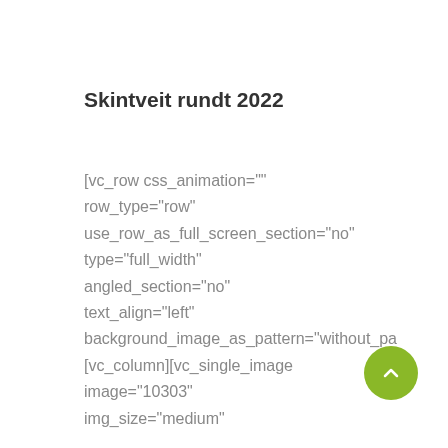Skintveit rundt 2022
[vc_row css_animation="" row_type="row" use_row_as_full_screen_section="no" type="full_width" angled_section="no" text_align="left" background_image_as_pattern="without_pa [vc_column][vc_single_image image="10303" img_size="medium" onclick="link_image" qode_css_animation=""] [vc_separator…